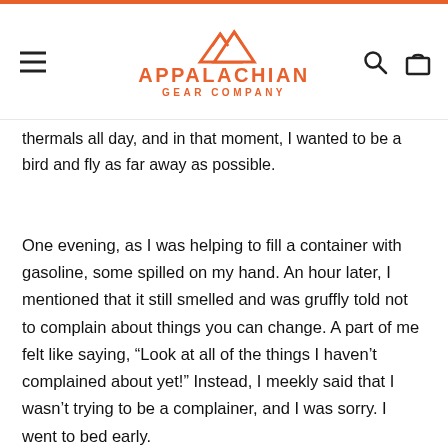APPALACHIAN GEAR COMPANY
thermals all day, and in that moment, I wanted to be a bird and fly as far away as possible.
One evening, as I was helping to fill a container with gasoline, some spilled on my hand. An hour later, I mentioned that it still smelled and was gruffly told not to complain about things you can change. A part of me felt like saying, “Look at all of the things I haven’t complained about yet!” Instead, I meekly said that I wasn’t trying to be a complainer, and I was sorry. I went to bed early.
I sat at the belay one afternoon, nerves a wreck and feeling like crying and throwing up at the same time. I had never done a lower out before, and this one was huge. One of the team